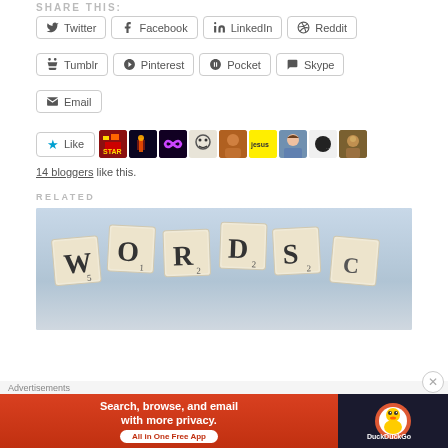SHARE THIS:
Twitter
Facebook
LinkedIn
Reddit
Tumblr
Pinterest
Pocket
Skype
Email
[Figure (other): Like button with star icon and row of blogger avatar thumbnails]
14 bloggers like this.
RELATED
[Figure (photo): Photo of Scrabble tiles spelling WORDS on a light blue background]
Advertisements
[Figure (other): DuckDuckGo advertisement banner: Search, browse, and email with more privacy. All in One Free App]